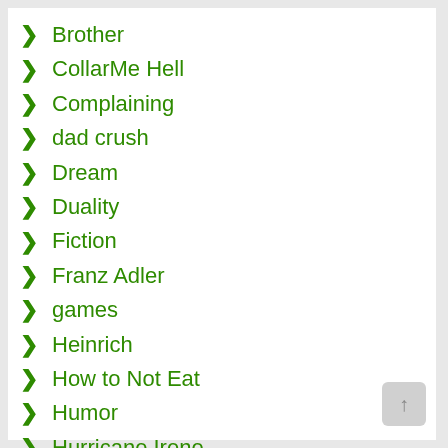Brother
CollarMe Hell
Complaining
dad crush
Dream
Duality
Fiction
Franz Adler
games
Heinrich
How to Not Eat
Humor
Hurricane Irene
Imaginary Boyfriends
Jeff